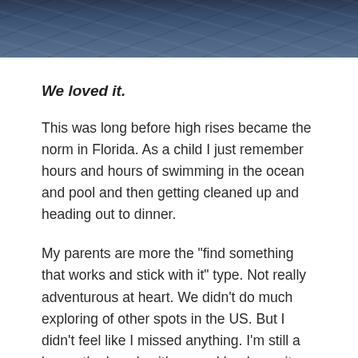[Figure (photo): Dark blue ocean water photograph strip at the top of the page]
We loved it.
This was long before high rises became the norm in Florida.   As a child I just remember hours and hours of swimming in the ocean and pool and then getting cleaned up and heading out to dinner.
My parents are more the "find something that works and stick with it" type.  Not really adventurous at heart.  We didn't do much exploring of other spots in the US.  But  I didn't feel like I missed anything.   I'm still a lay on the beach with a good book, or sit poolside with a fun